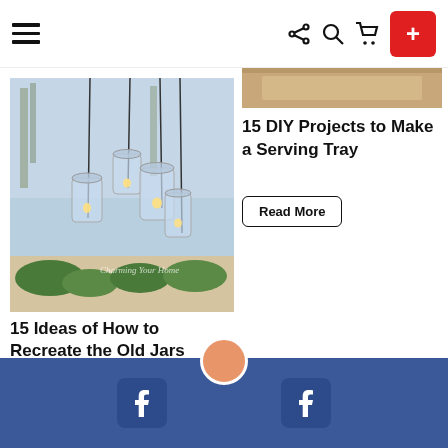Navigation bar with hamburger menu, share, search, cart icons, and a red + button
[Figure (photo): Mason jar pendant lights hanging in front of large window with greenery on windowsill]
15 Ideas of How to Recreate the Old Jars
Read More
[Figure (photo): Partially visible serving tray image at top of right column]
15 DIY Projects to Make a Serving Tray
Read More
Facebook social share footer with two Facebook icons